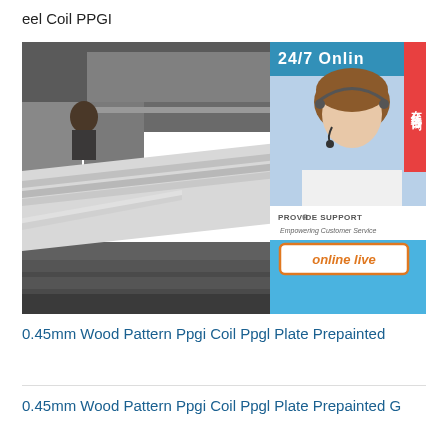eel Coil PPGI
[Figure (photo): Industrial steel sheet/plate stacked on racks in a warehouse, with a 24/7 online support widget overlay featuring a customer service representative, PROVIDE SUPPORT branding, and an 'online live' button. A red Chinese text tab is visible on the right edge.]
0.45mm Wood Pattern Ppgi Coil Ppgl Plate Prepainted
0.45mm Wood Pattern Ppgi Coil Ppgl Plate Prepainted G